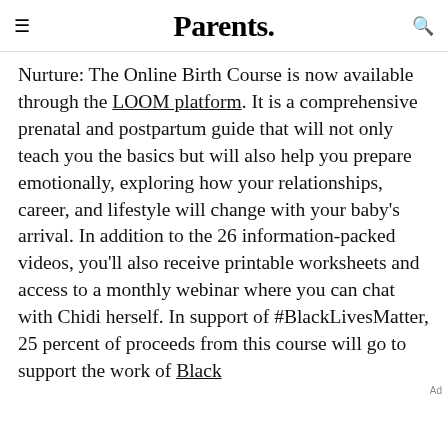Parents.
Nurture: The Online Birth Course is now available through the LOOM platform. It is a comprehensive prenatal and postpartum guide that will not only teach you the basics but will also help you prepare emotionally, exploring how your relationships, career, and lifestyle will change with your baby's arrival. In addition to the 26 information-packed videos, you'll also receive printable worksheets and access to a monthly webinar where you can chat with Chidi herself. In support of #BlackLivesMatter, 25 percent of proceeds from this course will go to support the work of Black [Mamas Matter Alliance]